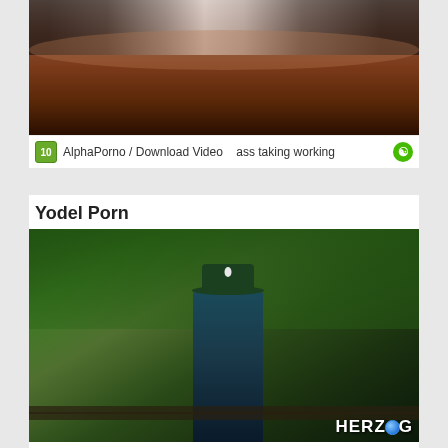[Figure (screenshot): Video thumbnail showing a scene with wood floor background]
AlphaPorno / Download Video   ass taking working
Yodel Porn
[Figure (screenshot): Video thumbnail showing a person in traditional Bavarian clothing with green hat outdoors in a forested park setting, with HERZOG watermark in bottom right corner]